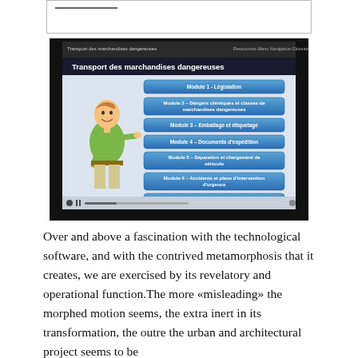[Figure (screenshot): Screenshot of an e-learning interface titled 'Transport des marchandises dangereuses' showing a menu with modules: Module 1 - Législation, Module 2 - Dangers chimiques et classes de marchandises dangereuses, Module 3 - Emballage et étiquetage, Module 4 - Documents d'expédition, Module 5 - Séparation et chargement de véhicule, Module 6 - Accidents et plans d'intervention d'urgence, Évaluation finale. An animated character (man in green shirt) points to the menu. Media playback controls are visible at the bottom.]
Over and above a fascination with the technological software, and with the contrived metamorphosis that it creates, we are exercised by its revelatory and operational function.The more «misleading» the morphed motion seems, the extra inert in its transformation, the outre the urban and architectural project seems to be